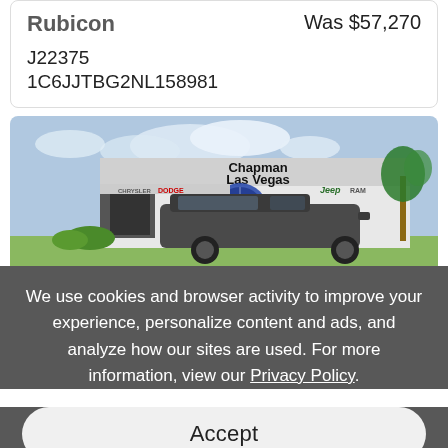Rubicon
Was $57,270
J22375
1C6JJTBG2NL158981
[Figure (photo): Chapman Las Vegas dealership exterior showing Chrysler, Dodge, Jeep, and Ram signage with a dark SUV parked in front]
We use cookies and browser activity to improve your experience, personalize content and ads, and analyze how our sites are used. For more information, view our Privacy Policy.
Accept